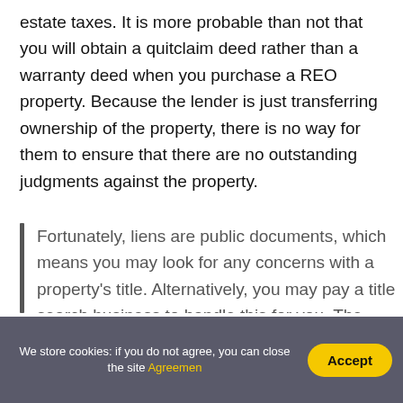estate taxes. It is more probable than not that you will obtain a quitclaim deed rather than a warranty deed when you purchase a REO property. Because the lender is just transferring ownership of the property, there is no way for them to ensure that there are no outstanding judgments against the property.
Fortunately, liens are public documents, which means you may look for any concerns with a property's title. Alternatively, you may pay a title search business to handle this for you. The cost varies from state to state, but on average it is around $150.
We store cookies: if you do not agree, you can close the site Agreemen